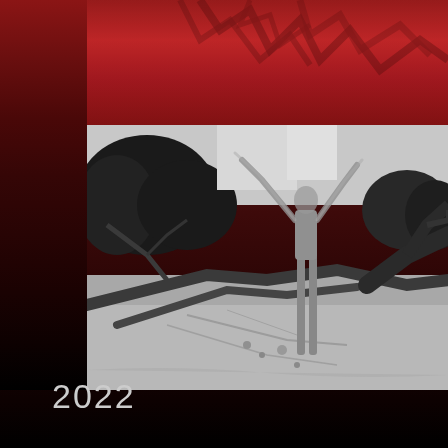[Figure (photo): Black and white photograph of a figure with arms raised among fallen driftwood trees and sandy ground, with dark trees in background. The image is overlaid on a dark red/crimson textured background with earthy reddish tones.]
2022